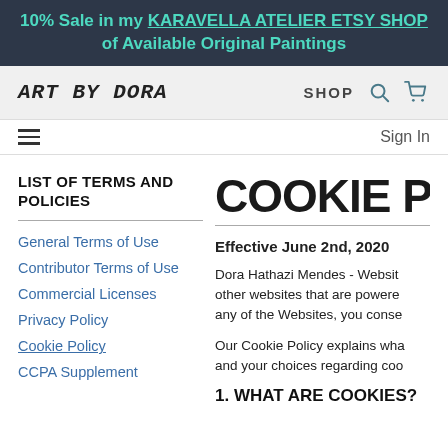10% Sale in my KARAVELLA ATELIER ETSY SHOP of Available Original Paintings
[Figure (screenshot): Art by Dora website navigation bar with logo, SHOP link, search icon, and cart icon]
Sign In
LIST OF TERMS AND POLICIES
General Terms of Use
Contributor Terms of Use
Commercial Licenses
Privacy Policy
Cookie Policy
CCPA Supplement
COOKIE POL
Effective June 2nd, 2020
Dora Hathazi Mendes - Website other websites that are powered any of the Websites, you conse
Our Cookie Policy explains wha and your choices regarding coo
1. WHAT ARE COOKIES?